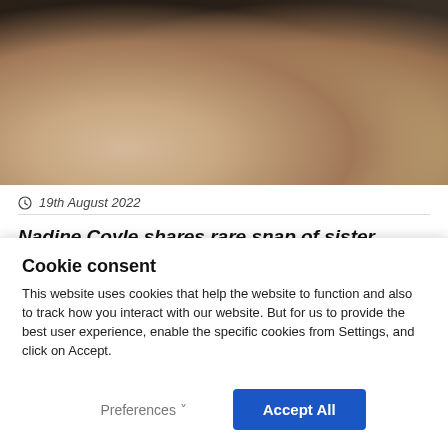[Figure (photo): Two women with long blonde/wavy hair posing together, one wearing a black low-cut outfit, the other a grey knit top, photographed at what appears to be an event]
19th August 2022
Nadine Coyle shares rare snap of sister Rachel in sweet birthday tribute
[Figure (photo): Dark/black background photo, partially visible at bottom of article]
Cookie consent
This website uses cookies that help the website to function and also to track how you interact with our website. But for us to provide the best user experience, enable the specific cookies from Settings, and click on Accept.
Preferences
Accept All